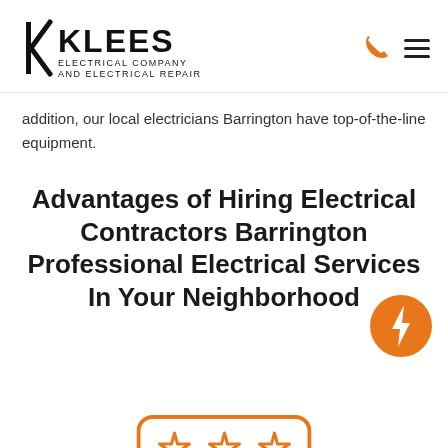KLEES ELECTRICAL COMPANY AND ELECTRICAL REPAIR
addition, our local electricians Barrington have top-of-the-line equipment.
Advantages of Hiring Electrical Contractors Barrington Professional Electrical Services In Your Neighborhood
[Figure (logo): Orange lightning bolt icon in a circle]
[Figure (illustration): Three orange star icons inside a rounded rectangle border]